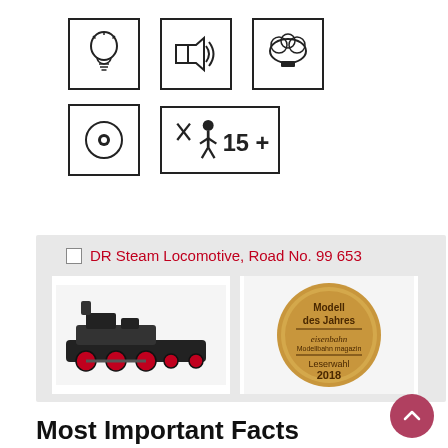[Figure (infographic): Row of three icon boxes: light bulb icon, speaker/sound icon, steam/smoke icon]
[Figure (infographic): Row of two icon boxes: disc/wheel icon, and age 15+ warning icon with scissors]
DR Steam Locomotive, Road No. 99 653
[Figure (photo): Photo of a black and red DR steam locomotive model]
[Figure (illustration): Modell des Jahres eisenbahn magazin Leserwahl 2018 gold award badge]
Most Important Facts